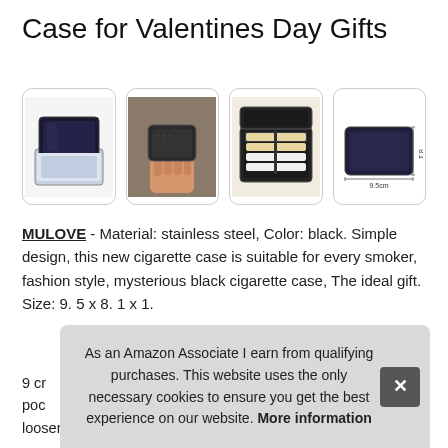Case for Valentines Day Gifts
[Figure (photo): Four product photos of a black cigarette case: in box, held in hand, open showing cigarettes, and with dimensions labeled]
MULOVE - Material: stainless steel, Color: black. Simple design, this new cigarette case is suitable for every smoker, fashion style, mysterious black cigarette case, The ideal gift. Size: 9. 5 x 8. 1 x 1.
9 cr... poc... loosening. Put the cigarette into the cigarette box to protect
As an Amazon Associate I earn from qualifying purchases. This website uses the only necessary cookies to ensure you get the best experience on our website. More information